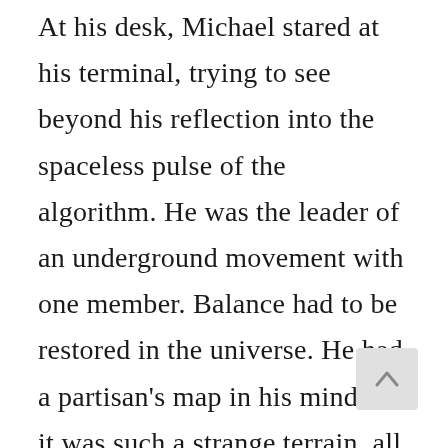At his desk, Michael stared at his terminal, trying to see beyond his reflection into the spaceless pulse of the algorithm. He was the leader of an underground movement with one member. Balance had to be restored in the universe. He had a partisan's map in his mind, but it was such a strange terrain, all coordinates and interstices, a difficult place to stage a cyber ambush where there wasn't so much as a virtual blade of grass to hide behind. Nevertheless, an ambush was exactly what he had in mind. The man and shut down